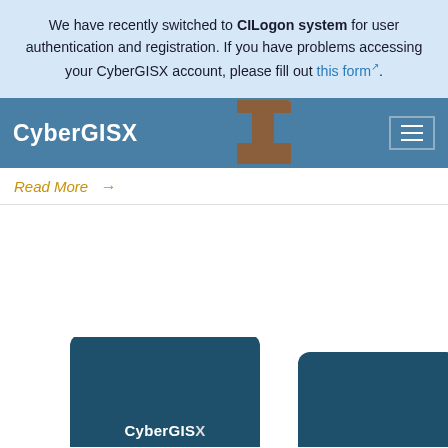We have recently switched to CILogon system for user authentication and registration. If you have problems accessing your CyberGISX account, please fill out this form.
CyberGISX
Read More →
[Figure (screenshot): Two partially visible rounded card elements with dark teal background showing 'CyberGIS' text at bottom, suggesting a carousel or card grid layout]